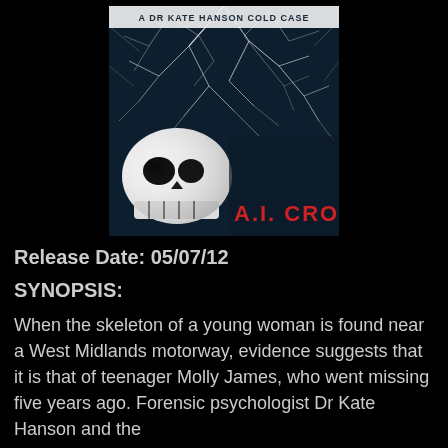[Figure (illustration): Book cover for 'A Dr Kate Hanson Cold Case' by A.I. Cross. Dark cover with a human skull in the lower left, white tangled roots/branches against a dark background, text 'A DR KATE HANSON COLD CASE' at top and 'A.I. CROSS' in red at bottom right.]
Release Date: 05/07/12
SYNOPSIS:
When the skeleton of a young woman is found near a West Midlands motorway, evidence suggests that it is that of teenager Molly James, who went missing five years ago. Forensic psychologist Dr Kate Hanson and the